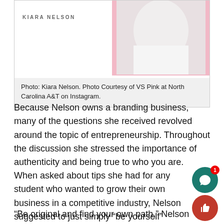[Figure (photo): Photo of Kiara Nelson with a pink background, wearing a white outfit. Name label 'KIARA NELSON' visible at top left of image area.]
Photo: Kiara Nelson. Photo Courtesy of VS Pink at North Carolina A&T on Instagram.
Because Nelson owns a branding business, many of the questions she received revolved around the topic of entrepreneurship. Throughout the discussion she stressed the importance of authenticity and being true to who you are.
When asked about tips she had for any student who wanted to grow their own business in a competitive industry, Nelson suggested to just simply “be yourself”
“Be original and find your own path,” Nelson said.